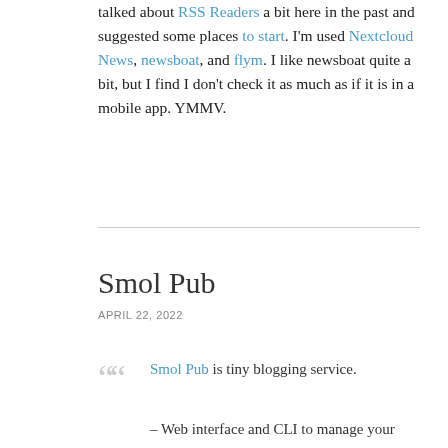talked about RSS Readers a bit here in the past and suggested some places to start. I'm used Nextcloud News, newsboat, and flym. I like newsboat quite a bit, but I find I don't check it as much as if it is in a mobile app. YMMV.
Smol Pub
APRIL 22, 2022
Smol Pub is tiny blogging service.
– Web interface and CLI to manage your posts.
– Accessible from Web, Gemini and Gopher.